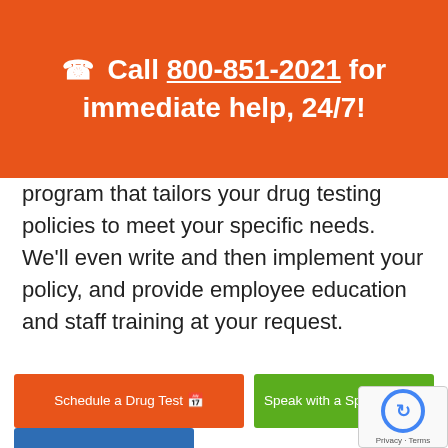☎ Call 800-851-2021 for immediate help, 24/7!
program that tailors your drug testing policies to meet your specific needs. We'll even write and then implement your policy, and provide employee education and staff training at your request.
Schedule a Drug Test
Speak with a Specialist